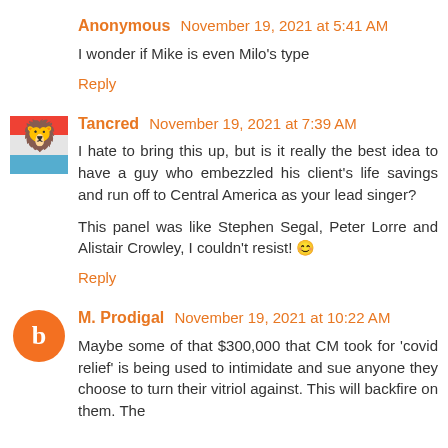Anonymous November 19, 2021 at 5:41 AM
I wonder if Mike is even Milo's type
Reply
Tancred November 19, 2021 at 7:39 AM
I hate to bring this up, but is it really the best idea to have a guy who embezzled his client's life savings and run off to Central America as your lead singer?
This panel was like Stephen Segal, Peter Lorre and Alistair Crowley, I couldn't resist! 😊
Reply
M. Prodigal November 19, 2021 at 10:22 AM
Maybe some of that $300,000 that CM took for 'covid relief' is being used to intimidate and sue anyone they choose to turn their vitriol against. This will backfire on them. The